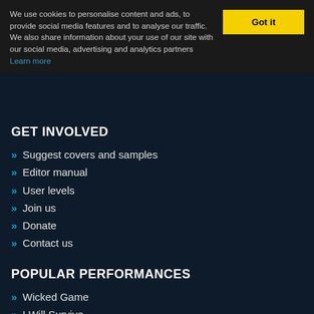We use cookies to personalise content and ads, to provide social media features and to analyse our traffic. We also share information about your use of our site with our social media, advertising and analytics partners Learn more
GET INVOLVED
Suggest covers and samples
Editor manual
User levels
Join us
Donate
Contact us
POPULAR PERFORMANCES
Wicked Game
I Will Survive
Zombie
Take Me Home, Country Roads
Bang Bang (My Baby Shot Me Down)
Over the Mountain (Across the Sea)